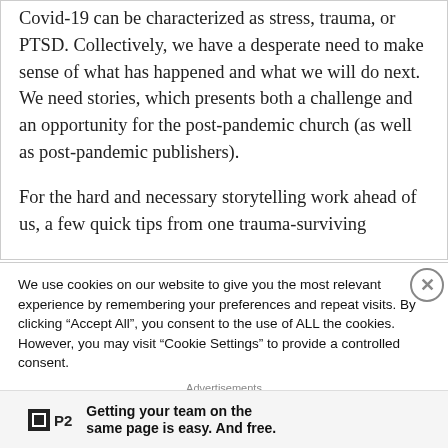Covid-19 can be characterized as stress, trauma, or PTSD. Collectively, we have a desperate need to make sense of what has happened and what we will do next. We need stories, which presents both a challenge and an opportunity for the post-pandemic church (as well as post-pandemic publishers).

For the hard and necessary storytelling work ahead of us, a few quick tips from one trauma-surviving storyteller to another
We use cookies on our website to give you the most relevant experience by remembering your preferences and repeat visits. By clicking “Accept All”, you consent to the use of ALL the cookies. However, you may visit "Cookie Settings" to provide a controlled consent.
Advertisements
[Figure (infographic): P2 advertisement: logo box with P2 text and slogan 'Getting your team on the same page is easy. And free.']